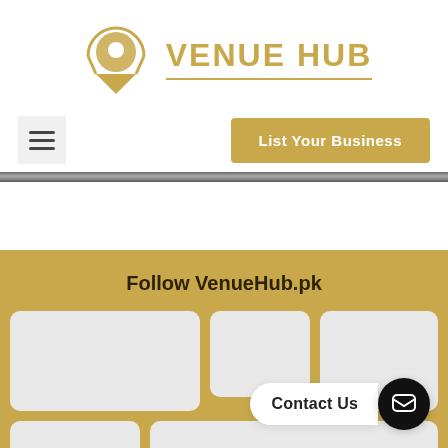[Figure (logo): Venue Hub logo with golden location pin icon and text 'VENUE HUB' in gold with underline]
[Figure (screenshot): Navigation bar with hamburger menu button on left and 'List Your Business' golden button on right]
Follow VenueHub.pk
[Figure (screenshot): Social media cards grid in golden footer area with 'Contact Us' widget in bottom right]
Contact Us